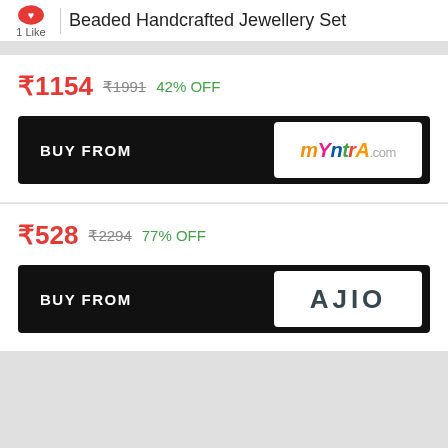1 Like | Beaded Handcrafted Jewellery Set
₹1154  ₹1991  42% OFF
[Figure (logo): BUY FROM Myntra.com button]
₹528  ₹2294  77% OFF
[Figure (logo): BUY FROM AJIO button]